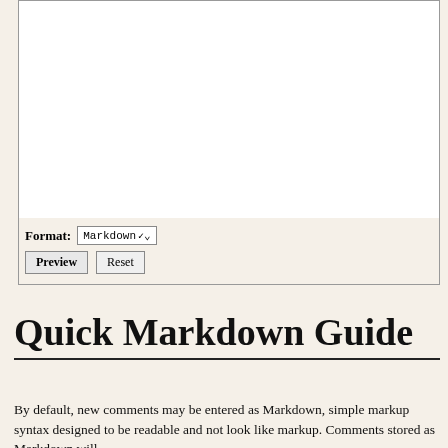[Figure (screenshot): A text area input box (empty, white background) with a left border, representing a comment entry field.]
Format: Markdown ▾
Preview   Reset
Quick Markdown Guide
By default, new comments may be entered as Markdown, simple markup syntax designed to be readable and not look like markup. Comments stored as Markdown will